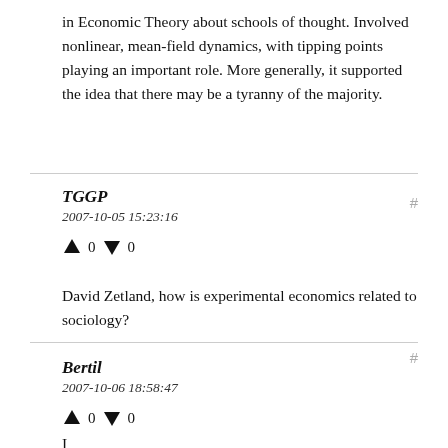in Economic Theory about schools of thought. Involved nonlinear, mean-field dynamics, with tipping points playing an important role. More generally, it supported the idea that there may be a tyranny of the majority.
TGGP
2007-10-05 15:23:16
↑ 0 ↓ 0
David Zetland, how is experimental economics related to sociology?
Bertil
2007-10-06 18:58:47
↑ 0 ↓ 0